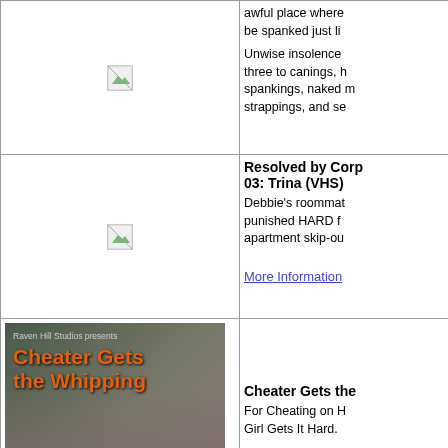[Figure (photo): Broken image placeholder in left cell, row 1]
awful place where be spanked just li... Unwise insolence three to canings, h spankings, naked m strappings, and se...
[Figure (photo): Broken image placeholder in left cell, row 2]
Resolved by Corp 03: Trina (VHS) Debbie's roommat punished HARD f apartment skip-ou... More Information
[Figure (photo): Movie cover image: Raven Hill Studios presents Cheater Gets the Whipping]
Cheater Gets the For Cheating on H Girl Gets It Hard. More Information